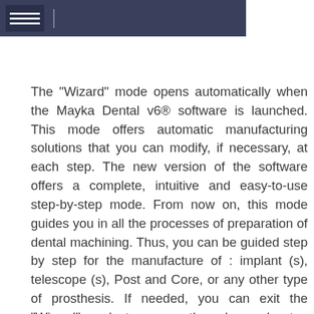[Figure (screenshot): Dark-themed software interface screenshot showing a menu panel on the left with horizontal lines and a cursor icon, against a dark blue-gray background.]
The "Wizard" mode opens automatically when the Mayka Dental v6® software is launched. This mode offers automatic manufacturing solutions that you can modify, if necessary, at each step. The new version of the software offers a complete, intuitive and easy-to-use step-by-step mode. From now on, this mode guides you in all the processes of preparation of dental machining. Thus, you can be guided step by step for the manufacture of : implant (s), telescope (s), Post and Core, or any other type of prosthesis. If needed, you can exit the "Wizard" mode to access the advanced setup menus. However, do not forget to save your current work so that you can reopen it in the 'Wizard' mode in the 'Crude Management'